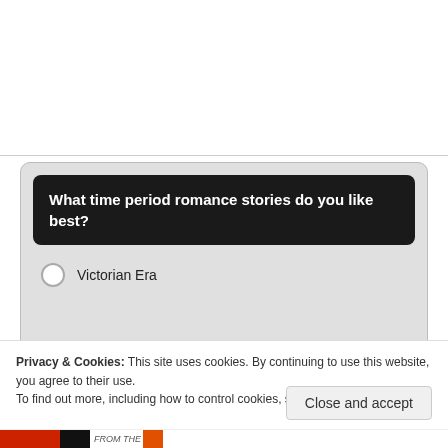[Figure (screenshot): Survey widget with dark question bar asking 'What time period romance stories do you like best?' and one visible answer option 'Victorian Era' with an unselected radio button, on a light gray rounded widget background.]
Privacy & Cookies: This site uses cookies. By continuing to use this website, you agree to their use.
To find out more, including how to control cookies, see here: Cookie Policy
Close and accept